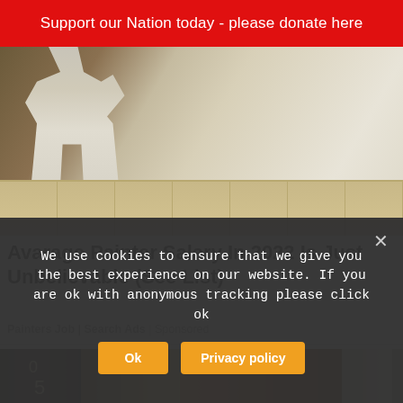Support our Nation today - please donate here
[Figure (photo): A painter in white clothes painting a wall, viewed from behind, with wood paneling at the bottom of the wall.]
Avarage Painter Salary In 2022 Is Just Unbelievable (See List)
Painters Job | Search Ads | Sponsored
[Figure (photo): A partial strip showing house entrance/door images with the number 5 visible.]
We use cookies to ensure that we give you the best experience on our website. If you are ok with anonymous tracking please click ok
Ok
Privacy policy